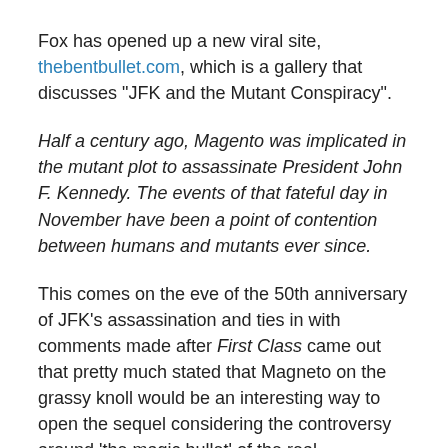Fox has opened up a new viral site, thebentbullet.com, which is a gallery that discusses "JFK and the Mutant Conspiracy".
Half a century ago, Magento was implicated in the mutant plot to assassinate President John F. Kennedy. The events of that fateful day in November have been a point of contention between humans and mutants ever since.
This comes on the eve of the 50th anniversary of JFK's assassination and ties in with comments made after First Class came out that pretty much stated that Magneto on the grassy knoll would be an interesting way to open the sequel considering the controversy around 'the magic bullet' of the real assassination.
I thought that Magneto gets arrested at the Paris Peace...